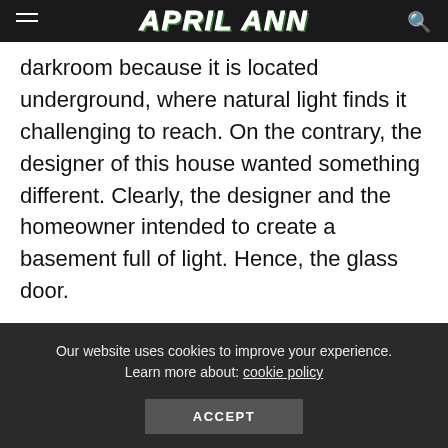APRIL ANN
darkroom because it is located underground, where natural light finds it challenging to reach. On the contrary, the designer of this house wanted something different. Clearly, the designer and the homeowner intended to create a basement full of light. Hence, the glass door.
Generally speaking, this door can't be fully
Our website uses cookies to improve your experience. Learn more about: cookie policy
ACCEPT